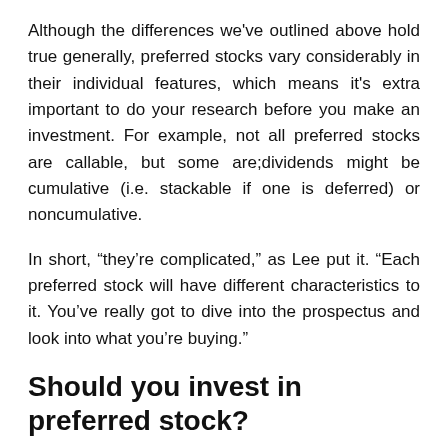Although the differences we've outlined above hold true generally, preferred stocks vary considerably in their individual features, which means it's extra important to do your research before you make an investment. For example, not all preferred stocks are callable, but some are;dividends might be cumulative (i.e. stackable if one is deferred) or noncumulative.
In short, “they’re complicated,” as Lee put it. “Each preferred stock will have different characteristics to it. You’ve really got to dive into the prospectus and look into what you’re buying.”
Should you invest in preferred stock?
Ultimately, the only person who can decide if preferred stocks are right for your investment portfolio is you. (Although talking with a qualified financial advisor probably wouldn’t hurt, either.)
If you do decide to invest in preferred stocks, you’ll purchase them